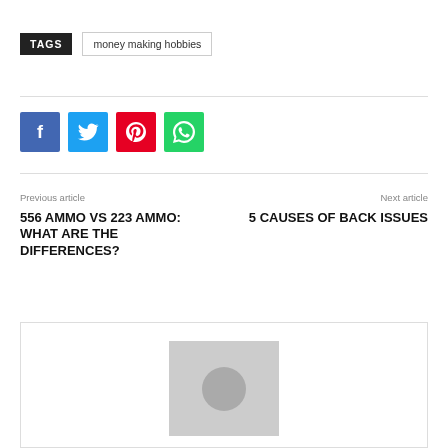TAGS   money making hobbies
[Figure (other): Social share buttons: Facebook (blue), Twitter (light blue), Pinterest (red), WhatsApp (green)]
Previous article
Next article
556 AMMO VS 223 AMMO: WHAT ARE THE DIFFERENCES?
5 CAUSES OF BACK ISSUES
[Figure (photo): Author avatar placeholder image with grey background and circular silhouette]